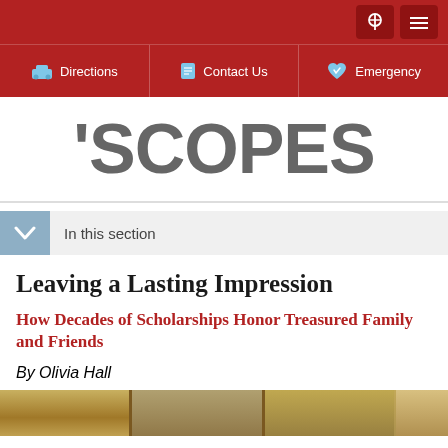Directions | Contact Us | Emergency
'SCOPES
In this section
Leaving a Lasting Impression
How Decades of Scholarships Honor Treasured Family and Friends
By Olivia Hall
[Figure (photo): Partial view of wooden shelving or furniture at bottom of page]